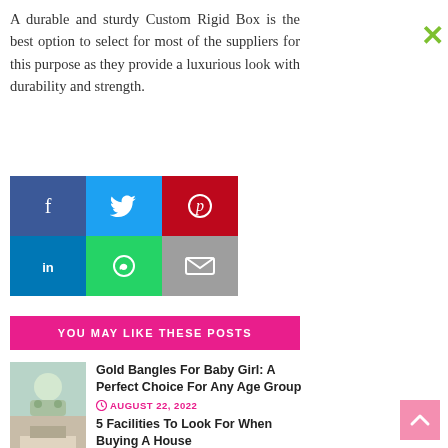A durable and sturdy Custom Rigid Box is the best option to select for most of the suppliers for this purpose as they provide a luxurious look with durability and strength.
[Figure (infographic): Social share buttons grid: Facebook (dark blue), Twitter (blue), Pinterest (red), LinkedIn (blue), WhatsApp (green), Email (gray)]
YOU MAY LIKE THESE POSTS
[Figure (photo): Thumbnail of baby girl with gold bangles]
Gold Bangles For Baby Girl: A Perfect Choice For Any Age Group
AUGUST 22, 2022
[Figure (photo): Thumbnail of house interior]
5 Facilities To Look For When Buying A House